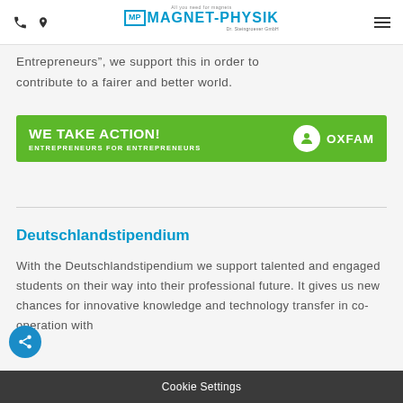Magnet-Physik Dr. Steingroever GmbH
Entrepreneurs", we support this in order to contribute to a fairer and better world.
[Figure (infographic): Green banner reading WE TAKE ACTION! ENTREPRENEURS FOR ENTREPRENEURS with Oxfam logo on right]
Deutschlandstipendium
With the Deutschlandstipendium we support talented and engaged students on their way into their professional future. It gives us new chances for innovative knowledge and technology transfer in co-operation with